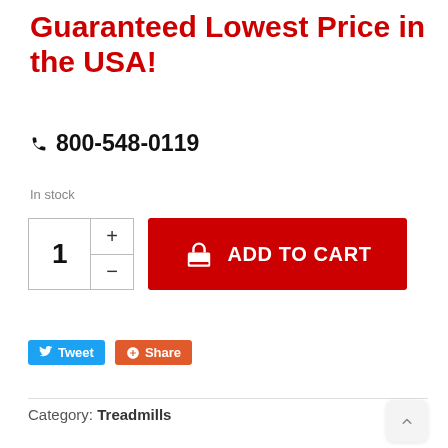Guaranteed Lowest Price in the USA!
☎ 800-548-0119
In stock
[Figure (other): Quantity selector with + and - buttons showing value 1, and a red ADD TO CART button with shopping bag icon]
[Figure (other): Tweet button (blue) and Share button (orange) social sharing buttons]
Category: Treadmills